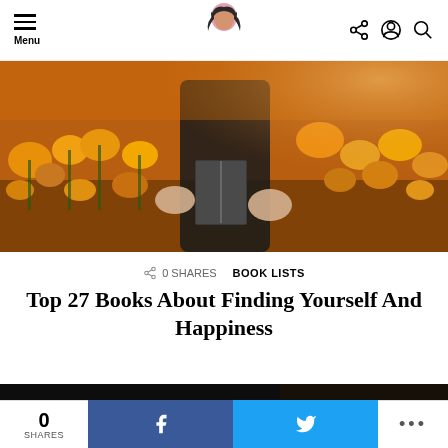Menu [logo] [share icon] [profile icon] [search icon]
[Figure (photo): Person holding a book in a field of orange and yellow flowers, warm golden tones]
0 SHARES   BOOK LISTS
Top 27 Books About Finding Yourself And Happiness
[Figure (infographic): Advertisement banner: Thought you couldn't make a difference in the climate crisis? Now you can. Wren]
0 SHARES  [Facebook share]  [Twitter share]  [More]